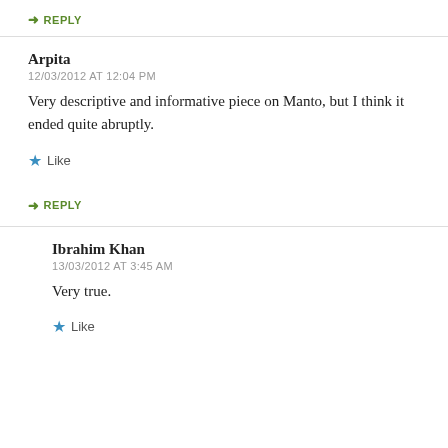↳ REPLY
Arpita
12/03/2012 AT 12:04 PM
Very descriptive and informative piece on Manto, but I think it ended quite abruptly.
Like
↳ REPLY
Ibrahim Khan
13/03/2012 AT 3:45 AM
Very true.
Like